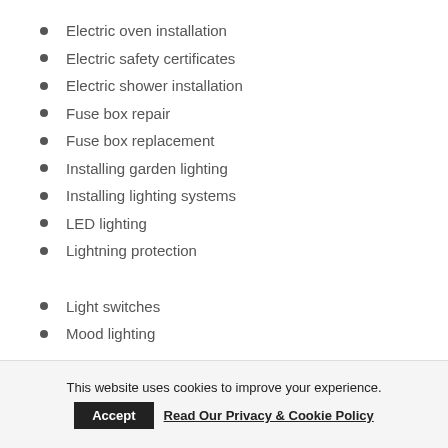Electric oven installation
Electric safety certificates
Electric shower installation
Fuse box repair
Fuse box replacement
Installing garden lighting
Installing lighting systems
LED lighting
Lightning protection
Light switches
Mood lighting
This website uses cookies to improve your experience.
Accept  Read Our Privacy & Cookie Policy